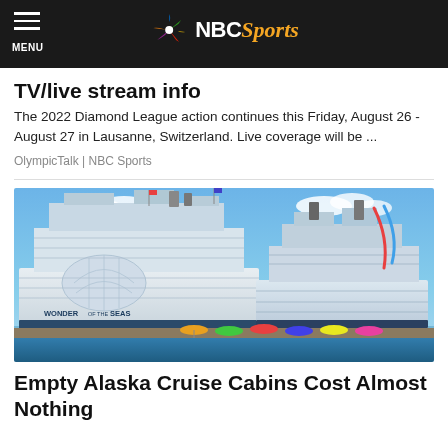NBC Sports
TV/live stream info
The 2022 Diamond League action continues this Friday, August 26 - August 27 in Lausanne, Switzerland. Live coverage will be ...
OlympicTalk | NBC Sports
[Figure (photo): Two large cruise ships docked side by side, with 'Wonder of the Seas' visible on the hull of the left ship, photographed against a blue sky with colorful umbrellas visible at the dock.]
Empty Alaska Cruise Cabins Cost Almost Nothing